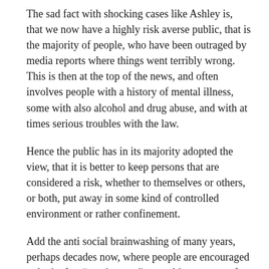The sad fact with shocking cases like Ashley is, that we now have a highly risk averse public, that is the majority of people, who have been outraged by media reports where things went terribly wrong. This is then at the top of the news, and often involves people with a history of mental illness, some with also alcohol and drug abuse, and with at times serious troubles with the law.
Hence the public has in its majority adopted the view, that it is better to keep persons that are considered a risk, whether to themselves or others, or both, put away in some kind of controlled environment or rather confinement.
Add the anti social brainwashing of many years, perhaps decades now, where people are encouraged to look after “number one”, are told to compete for everything, to “pull up their sleeves”, and to work hard and earn their living, in short neoliberalism and what comes with it, and we have few people prepared to pay any extra taxes for better social and health services, including on